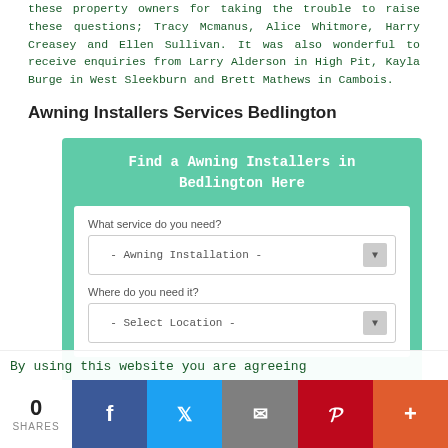these property owners for taking the trouble to raise these questions; Tracy Mcmanus, Alice Whitmore, Harry Creasey and Ellen Sullivan. It was also wonderful to receive enquiries from Larry Alderson in High Pit, Kayla Burge in West Sleekburn and Brett Mathews in Cambois.
Awning Installers Services Bedlington
[Figure (other): Web widget: 'Find a Awning Installers in Bedlington Here' with dropdowns for service (- Awning Installation -) and location (- Select Location -) and a CONTINUE button]
By using this website you are agreeing
[Figure (infographic): Social share bar with 0 SHARES count, and buttons for Facebook, Twitter, Email, Pinterest, and More (+)]